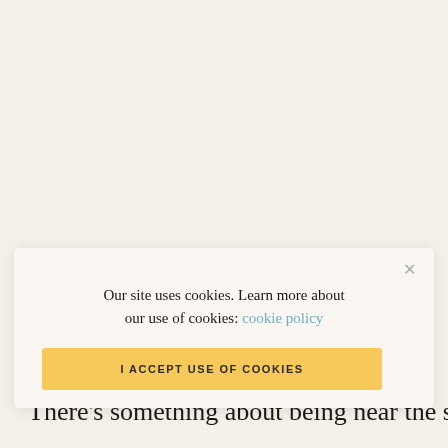[Figure (screenshot): Cookie consent modal dialog overlaying a beige/cream webpage. The modal contains text about cookie policy with a link, and a yellow 'I ACCEPT USE OF COOKIES' button. There is an X close button in the top right of the modal.]
Our site uses cookies. Learn more about our use of cookies: cookie policy
I ACCEPT USE OF COOKIES
There's something about being near the sea